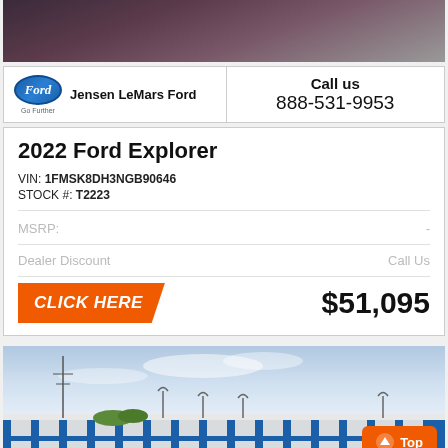[Figure (photo): Dark colored SUV (Ford Explorer) photo from above/front angle]
Jensen LeMars Ford
Call us
888-531-9953
2022 Ford Explorer
VIN: 1FMSK8DH3NGB90646
STOCK #: T2223
MSRP:  -
Dealer Discount  Call Us
CLICK HERE  $51,095
[Figure (photo): Exterior photo of Jensen LeMars Ford dealership building with blue and white facade, power lines visible, Top button overlay]